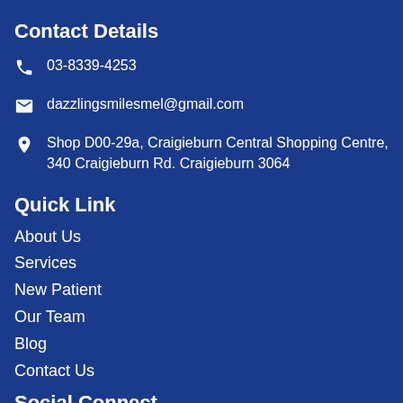Contact Details
03-8339-4253
dazzlingsmilesmel@gmail.com
Shop D00-29a, Craigieburn Central Shopping Centre, 340 Craigieburn Rd. Craigieburn 3064
Quick Link
About Us
Services
New Patient
Our Team
Blog
Contact Us
Social Connect